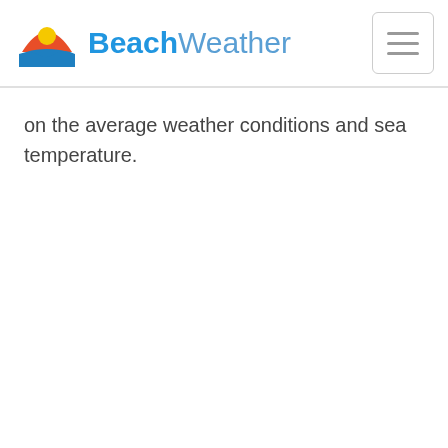BeachWeather
on the average weather conditions and sea temperature.